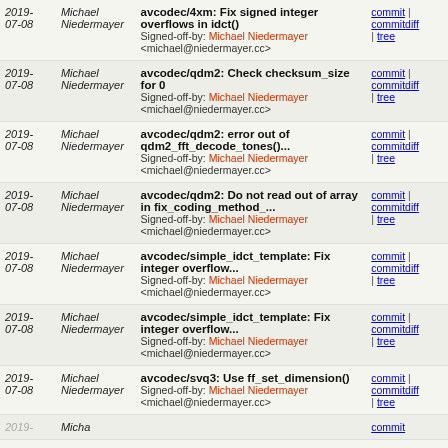| Date | Author | Message | Links |
| --- | --- | --- | --- |
| 2019-07-08 | Michael Niedermayer | avcodec/4xm: Fix signed integer overflows in idct()
Signed-off-by: Michael Niedermayer <michael@niedermayer.cc> | commit | commitdiff | tree |
| 2019-07-08 | Michael Niedermayer | avcodec/qdm2: Check checksum_size for 0
Signed-off-by: Michael Niedermayer <michael@niedermayer.cc> | commit | commitdiff | tree |
| 2019-07-08 | Michael Niedermayer | avcodec/qdm2: error out of qdm2_fft_decode_tones()...
Signed-off-by: Michael Niedermayer <michael@niedermayer.cc> | commit | commitdiff | tree |
| 2019-07-08 | Michael Niedermayer | avcodec/qdm2: Do not read out of array in fix_coding_method_...
Signed-off-by: Michael Niedermayer <michael@niedermayer.cc> | commit | commitdiff | tree |
| 2019-07-08 | Michael Niedermayer | avcodec/simple_idct_template: Fix integer overflow...
Signed-off-by: Michael Niedermayer <michael@niedermayer.cc> | commit | commitdiff | tree |
| 2019-07-08 | Michael Niedermayer | avcodec/simple_idct_template: Fix integer overflow...
Signed-off-by: Michael Niedermayer <michael@niedermayer.cc> | commit | commitdiff | tree |
| 2019-07-08 | Michael Niedermayer | avcodec/svq3: Use ff_set_dimension()
Signed-off-by: Michael Niedermayer <michael@niedermayer.cc> | commit | commitdiff | tree |